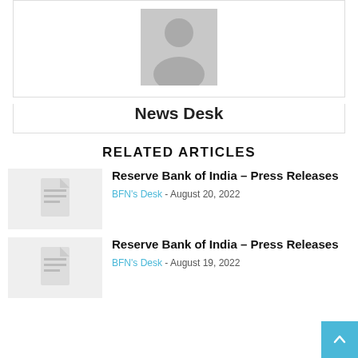[Figure (illustration): Gray avatar placeholder showing a generic person silhouette icon]
News Desk
RELATED ARTICLES
[Figure (illustration): Gray document placeholder thumbnail with lines icon]
Reserve Bank of India – Press Releases
BFN's Desk - August 20, 2022
[Figure (illustration): Gray document placeholder thumbnail with lines icon]
Reserve Bank of India – Press Releases
BFN's Desk - August 19, 2022